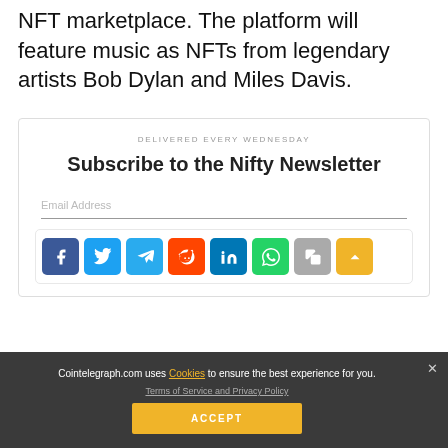NFT marketplace. The platform will feature music as NFTs from legendary artists Bob Dylan and Miles Davis.
DELIVERED EVERY WEDNESDAY
Subscribe to the Nifty Newsletter
Email Address
[Figure (infographic): Row of social share icons: Facebook, Twitter, Telegram, Reddit, LinkedIn, WhatsApp, Copy, Scroll-up]
Cointelegraph.com uses Cookies to ensure the best experience for you.
Terms of Service and Privacy Policy
ACCEPT